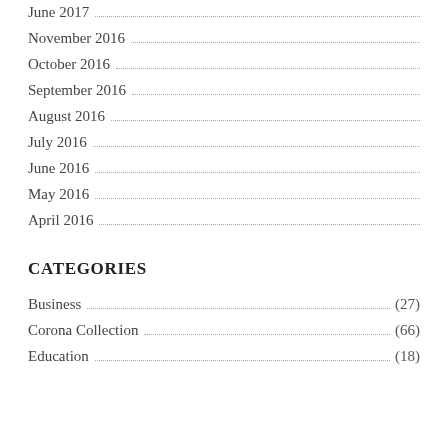June 2017
November 2016
October 2016
September 2016
August 2016
July 2016
June 2016
May 2016
April 2016
CATEGORIES
Business (27)
Corona Collection (66)
Education (18)